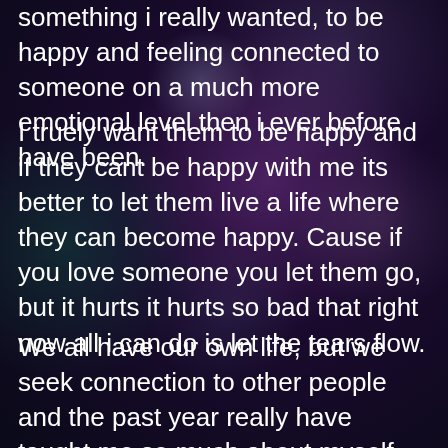something i really wanted, to be happy and feeling connected to someone on a much more emotional level then i ever before have been.
I truely want them to be happy and if they cant be happy with me its better to let them live a life where they can become happy. Cause if you love someone you let them go, but it hurts it hurts so bad that right now all i can do is let the tears flow.
We all have our own life, but we seek connection to other people and the past year really have taught me so much about myself, about who i am and what i want.